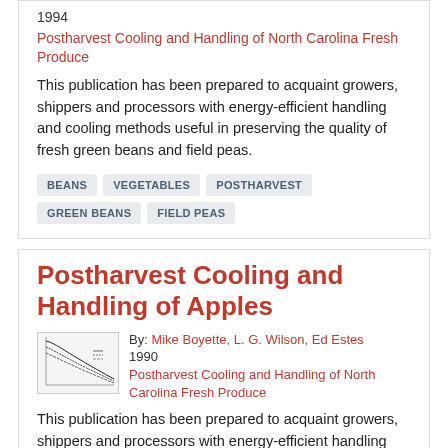1994
Postharvest Cooling and Handling of North Carolina Fresh Produce
This publication has been prepared to acquaint growers, shippers and processors with energy-efficient handling and cooling methods useful in preserving the quality of fresh green beans and field peas.
BEANS
VEGETABLES
POSTHARVEST
GREEN BEANS
FIELD PEAS
Postharvest Cooling and Handling of Apples
By: Mike Boyette, L. G. Wilson, Ed Estes
1990
[Figure (continuous-plot): Small thumbnail graph showing cooling curves as exponential decay lines]
Postharvest Cooling and Handling of North Carolina Fresh Produce
This publication has been prepared to acquaint growers, shippers and processors with energy-efficient handling and cooling methods useful in preserving the quality of